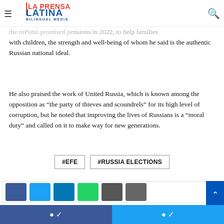La Prensa Latina Bilingual Media — navigation header
the m... Putin promised pension expansions in 2022, to help families with children, the strength and well-being of whom he said is the authentic Russian national ideal.
He also praised the work of United Russia, which is known among the opposition as “the party of thieves and scoundrels” for its high level of corruption, but he noted that improving the lives of Russians is a “moral duty” and called on it to make way for new generations.
#EFE
#RUSSIA ELECTIONS
[Figure (other): Social share buttons row: Facebook, Twitter, LinkedIn, WhatsApp, Email, Bookmark icons]
Facebook share button | Twitter share button